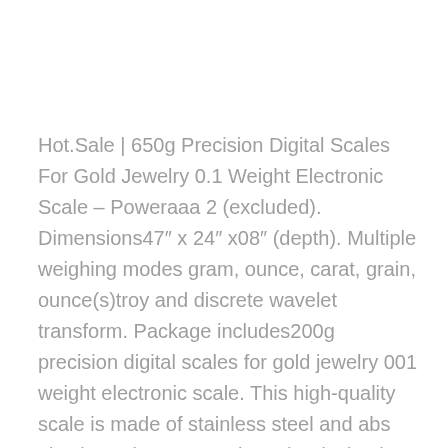Hot.Sale | 650g Precision Digital Scales For Gold Jewelry 0.1 Weight Electronic Scale – Poweraaa 2 (excluded). Dimensions47″ x 24″ x08″ (depth). Multiple weighing modes gram, ounce, carat, grain, ounce(s)troy and discrete wavelet transform. Package includes200g precision digital scales for gold jewelry 001 weight electronic scale. This high-quality scale is made of stainless steel and abs plastic, so its easy to clean the design is compact for portability so you can weigh goods, precious metals, jewelry, gems, medication, herbs or more wherever you do business.